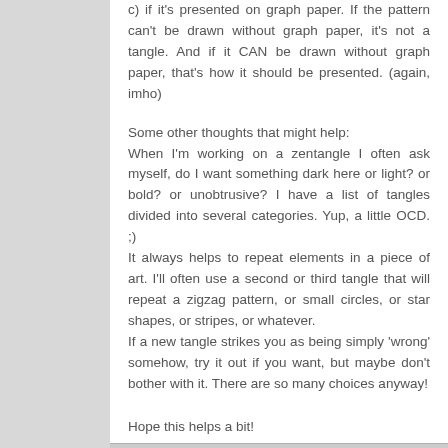c) if it's presented on graph paper. If the pattern can't be drawn without graph paper, it's not a tangle. And if it CAN be drawn without graph paper, that's how it should be presented. (again, imho)
Some other thoughts that might help:
When I'm working on a zentangle I often ask myself, do I want something dark here or light? or bold? or unobtrusive? I have a list of tangles divided into several categories. Yup, a little OCD. ;)
It always helps to repeat elements in a piece of art. I'll often use a second or third tangle that will repeat a zigzag pattern, or small circles, or star shapes, or stripes, or whatever.
If a new tangle strikes you as being simply 'wrong' somehow, try it out if you want, but maybe don't bother with it. There are so many choices anyway!
Hope this helps a bit!